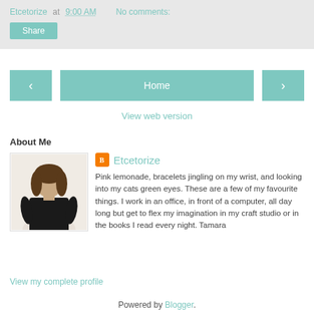Etcetorize at 9:00 AM   No comments:
Share
‹   Home   ›
View web version
About Me
[Figure (photo): Profile photo of a woman with long brown hair wearing a black top, standing against a white background.]
Etcetorize
Pink lemonade, bracelets jingling on my wrist, and looking into my cats green eyes. These are a few of my favourite things. I work in an office, in front of a computer, all day long but get to flex my imagination in my craft studio or in the books I read every night. Tamara
View my complete profile
Powered by Blogger.